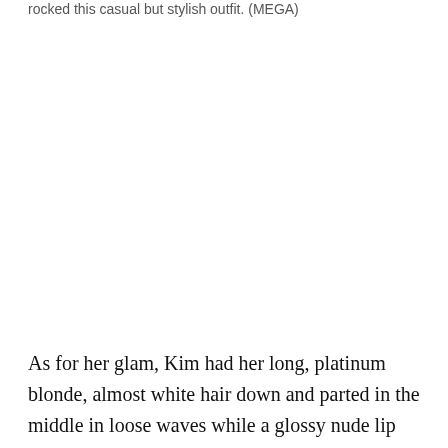rocked this casual but stylish outfit. (MEGA)
[Figure (photo): Photo placeholder area (white space where image would appear)]
As for her glam, Kim had her long, platinum blonde, almost white hair down and parted in the middle in loose waves while a glossy nude lip completed her look.